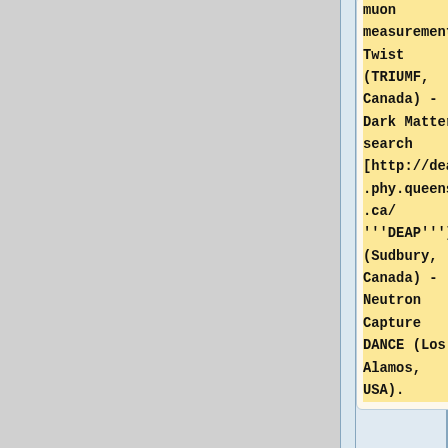muon measurement Twist (TRIUMF, Canada) - Dark Matter search [http://deap.phy.queensu.ca/'''DEAP'''] (Sudbury, Canada) - Neutron Capture DANCE (Los Alamos, USA).
[http://ladd00.triumf.ca/~daqweb/doc